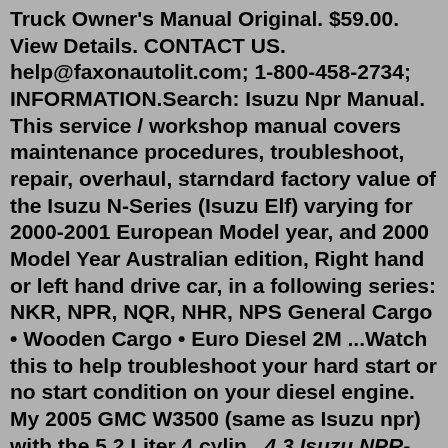Truck Owner's Manual Original. $59.00. View Details. CONTACT US. help@faxonautolit.com; 1-800-458-2734; INFORMATION.Search: Isuzu Npr Manual. This service / workshop manual covers maintenance procedures, troubleshoot, repair, overhaul, starndard factory value of the Isuzu N-Series (Isuzu Elf) varying for 2000-2001 European Model year, and 2000 Model Year Australian edition, Right hand or left hand drive car, in a following series: NKR, NPR, NQR, NHR, NPS General Cargo • Wooden Cargo • Euro Diesel 2M ...Watch this to help troubleshoot your hard start or no start condition on your diesel engine. My 2005 GMC W3500 (same as Isuzu npr) with the 5.2 Liter 4 cylin...4.3 Isuzu NPR-XD Crew Cab Diesel Truck Specifications. 5 Isuzu NQR Crew Cab Diesel Truck. 5.1 Isuzu NQR Crew Cab Diesel Truck Price. 5.2 Isuzu NQR Crew Cab Diesel Truck Key Features. 5.3 Isuzu NQR Crew Cab Diesel Truck Specifications. 6 Isuzu NPR-HD Standard Cab Diesel Truck.Isuzu 6HE1 Diesel Engine